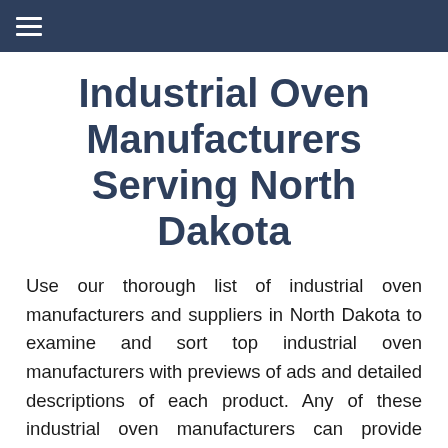≡
Industrial Oven Manufacturers Serving North Dakota
Use our thorough list of industrial oven manufacturers and suppliers in North Dakota to examine and sort top industrial oven manufacturers with previews of ads and detailed descriptions of each product. Any of these industrial oven manufacturers can provide industrial oven products to meet your companies specific qualifications. An easy connection